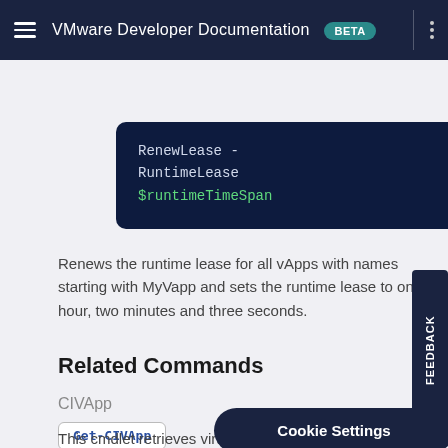VMware Developer Documentation BETA
RenewLease -
RuntimeLease
$runtimeTimeSpan
Renews the runtime lease for all vApps with names starting with MyVapp and sets the runtime lease to one hour, two minutes and three seconds.
Related Commands
CIVApp
Get-CIVApp
This cmdlet retrieves virtual applia